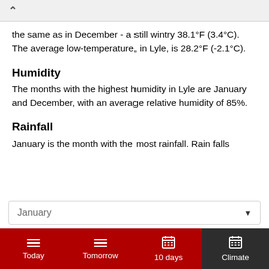the same as in December - a still wintry 38.1°F (3.4°C). The average low-temperature, in Lyle, is 28.2°F (-2.1°C).
Humidity
The months with the highest humidity in Lyle are January and December, with an average relative humidity of 85%.
Rainfall
January is the month with the most rainfall. Rain falls